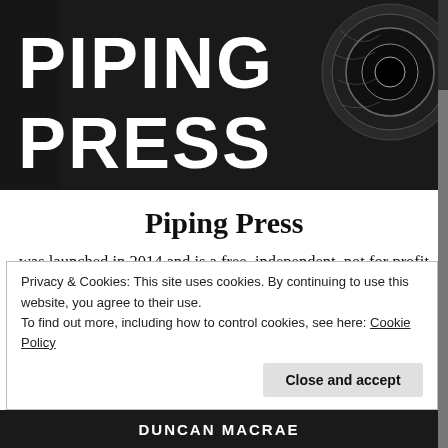[Figure (logo): Piping Press header banner with 'PIPING PRESS' in large white bold text on dark background, with a decorative bagpipe drone cap visible on the right]
Piping Press
was launched in 2014 and is a free, independent, not for profit web magazine with news, views, features and information from the piping and pipe band worlds. Email your news to editor@pipingpress.com or text 07957818672. Opinions expressed are those of the writer.
Privacy & Cookies: This site uses cookies. By continuing to use this website, you agree to their use.
To find out more, including how to control cookies, see here: Cookie Policy
Close and accept